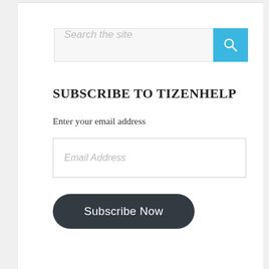[Figure (screenshot): Search bar with text placeholder 'Search the site' and a blue search button with magnifying glass icon]
SUBSCRIBE TO TIZENHELP
Enter your email address
[Figure (screenshot): Email address input field with placeholder text 'Email Address']
[Figure (screenshot): Dark rounded button labeled 'Subscribe Now']